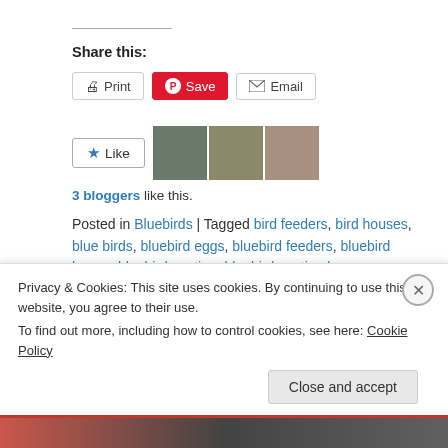Share this:
Print | Save | Email (share buttons)
Like | [3 blogger thumbnails]
3 bloggers like this.
Posted in Bluebirds | Tagged bird feeders, bird houses, blue birds, bluebird eggs, bluebird feeders, bluebird house, bluebird nesting, bluebird nesting box, bluebirds, cleaning a birdhouse, eastern blue bird, Eastern Bluebird, garden bird house, garden bluebird house, mealworms, raising mealworms | 1 Comment
Privacy & Cookies: This site uses cookies. By continuing to use this website, you agree to their use.
To find out more, including how to control cookies, see here: Cookie Policy
Close and accept